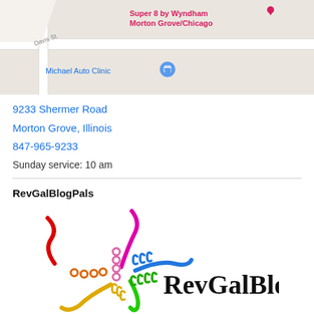[Figure (map): Google Maps screenshot showing Super 8 by Wyndham Morton Grove/Chicago hotel location, with Michael Auto Clinic nearby, streets visible including Davis St, map pin and shopping bag icon visible]
9233 Shermer Road
Morton Grove, Illinois
847-965-9233
Sunday service: 10 am
RevGalBlogPals
[Figure (logo): RevGalBlogPals logo featuring colorful squiggly lines and circles in red, pink, magenta, blue, green, yellow, and orange radiating from a center, with the text RevGalBlogPals in bold black serif font]